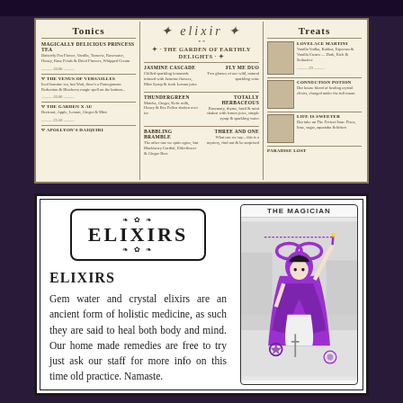[Figure (other): Elixir bar menu card with three columns: Tonics (left), Elixir logo with 'The Garden of Earthly Delights' center section, and Treats (right). Vintage parchment style menu.]
ELIXIRS
ELIXIRS
Gem water and crystal elixirs are an ancient form of holistic medicine, as such they are said to heal both body and mind. Our home made remedies are free to try just ask our staff for more info on this time old practice. Namaste.
[Figure (illustration): The Magician tarot card illustration in black and purple/magenta, showing a robed figure with an infinity symbol, raising a wand.]